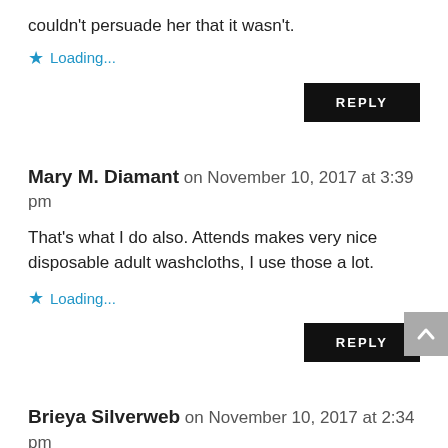couldn't persuade her that it wasn't.
Loading...
REPLY
Mary M. Diamant on November 10, 2017 at 3:39 pm
That's what I do also. Attends makes very nice disposable adult washcloths, I use those a lot.
Loading...
REPLY
Brieya Silverweb on November 10, 2017 at 2:34 pm
I'm lucky if I can get my dad to bathe. I came home